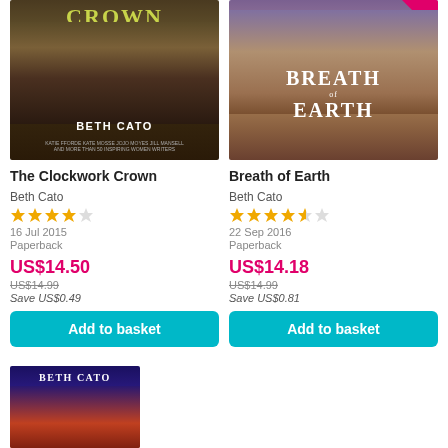[Figure (photo): Book cover of The Clockwork Crown by Beth Cato - fantasy novel with woman figure and steampunk elements]
The Clockwork Crown
Beth Cato
[Figure (other): 3.5 out of 5 stars rating]
16 Jul 2015
Paperback
US$14.50
US$14.99
Save US$0.49
[Figure (photo): Book cover of Breath of Earth by Beth Cato - fantasy novel with woman figure]
Breath of Earth
Beth Cato
[Figure (other): 3.5 out of 5 stars rating]
22 Sep 2016
Paperback
US$14.18
US$14.99
Save US$0.81
[Figure (photo): Partial book cover visible at bottom - Beth Cato book with dark blue and red/orange tones]